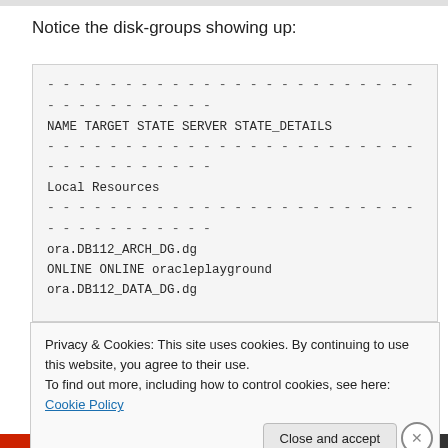Notice the disk-groups showing up:
------------------------------------------------------------------------
NAME TARGET STATE SERVER STATE_DETAILS
------------------------------------------------------------------------
Local Resources
------------------------------------------------------------------------
ora.DB112_ARCH_DG.dg
ONLINE ONLINE oracleplayground
ora.DB112_DATA_DG.dg
Privacy & Cookies: This site uses cookies. By continuing to use this website, you agree to their use.
To find out more, including how to control cookies, see here: Cookie Policy
Close and accept
Advertisements